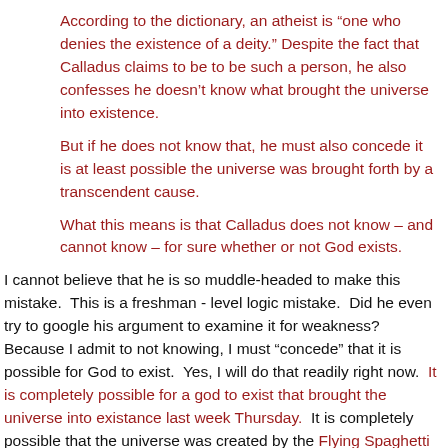According to the dictionary, an atheist is “one who denies the existence of a deity.” Despite the fact that Calladus claims to be to be such a person, he also confesses he doesn’t know what brought the universe into existence.
But if he does not know that, he must also concede it is at least possible the universe was brought forth by a transcendent cause.
What this means is that Calladus does not know – and cannot know – for sure whether or not God exists.
I cannot believe that he is so muddle-headed to make this mistake.  This is a freshman - level logic mistake.  Did he even try to google his argument to examine it for weakness?  Because I admit to not knowing, I must "concede" that it is possible for God to exist.  Yes, I will do that readily right now.  It is completely possible for a god to exist that brought the universe into existance last week Thursday.  It is completely possible that the universe was created by the Flying Spaghetti Monster, or the Invisible Pink Unicorn.